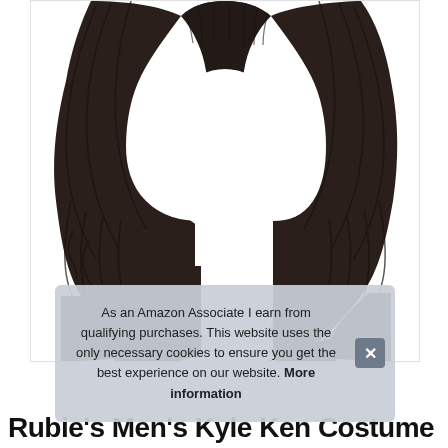[Figure (photo): Product photo of a dark brown/black wavy wig (Rubie's Men's Kyle Ken Costume wig) displayed on a faceless white mannequin head against a white background.]
As an Amazon Associate I earn from qualifying purchases. This website uses the only necessary cookies to ensure you get the best experience on our website. More information
Rubie's Men's Kyle Ken Costume